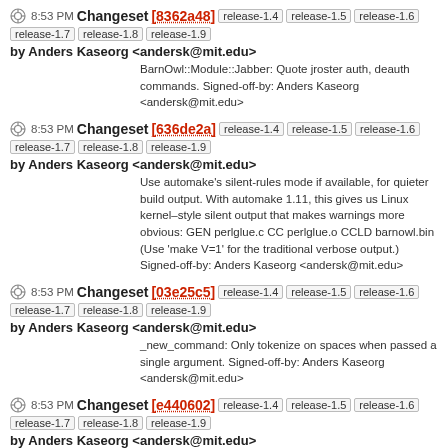8:53 PM Changeset [8362a48] release-1.4 release-1.5 release-1.6 release-1.7 release-1.8 release-1.9 by Anders Kaseorg <andersk@mit.edu>
BarnOwl::Module::Jabber: Quote jroster auth, deauth commands. Signed-off-by: Anders Kaseorg <andersk@mit.edu>
8:53 PM Changeset [636de2a] release-1.4 release-1.5 release-1.6 release-1.7 release-1.8 release-1.9 by Anders Kaseorg <andersk@mit.edu>
Use automake's silent-rules mode if available, for quieter build output. With automake 1.11, this gives us Linux kernel–style silent output that makes warnings more obvious: GEN perlglue.c CC perlglue.o CCLD barnowl.bin (Use 'make V=1' for the traditional verbose output.) Signed-off-by: Anders Kaseorg <andersk@mit.edu>
8:53 PM Changeset [03e25c5] release-1.4 release-1.5 release-1.6 release-1.7 release-1.8 release-1.9 by Anders Kaseorg <andersk@mit.edu>
_new_command: Only tokenize on spaces when passed a single argument. Signed-off-by: Anders Kaseorg <andersk@mit.edu>
8:53 PM Changeset [e440602] release-1.4 release-1.5 release-1.6 release-1.7 release-1.8 release-1.9 by Anders Kaseorg <andersk@mit.edu>
Fix incorrect owl_function_makemsg usage inside comments. Signed-off-by: Anders Kaseorg <andersk@mit.edu>